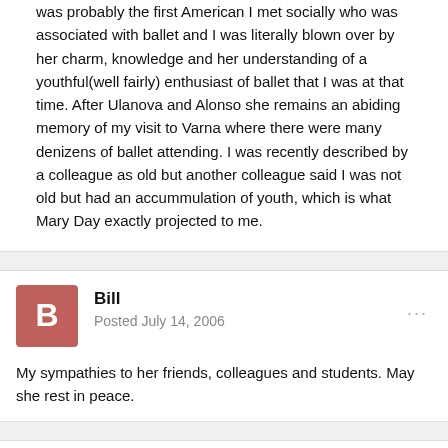was probably the first American I met socially who was associated with ballet and I was literally blown over by her charm, knowledge and her understanding of a youthful(well fairly) enthusiast of ballet that I was at that time. After Ulanova and Alonso she remains an abiding memory of my visit to Varna where there were many denizens of ballet attending. I was recently described by a colleague as old but another colleague said I was not old but had an accummulation of youth, which is what Mary Day exactly projected to me.
Bill
Posted July 14, 2006
My sympathies to her friends, colleagues and students. May she rest in peace.
RobinV1333
Posted July 17, 2006